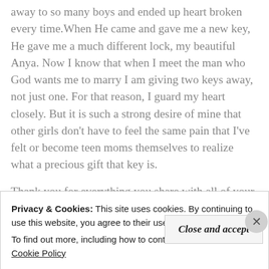away to so many boys and ended up heart broken every time. When He came and gave me a new key, He gave me a much different lock, my beautiful Anya. Now I know that when I meet the man who God wants me to marry I am giving two keys away, not just one. For that reason, I guard my heart closely. But it is such a strong desire of mine that other girls don't have to feel the same pain that I've felt or become teen moms themselves to realize what a precious gift that key is.
Thank you for everything you share with all of your
Privacy & Cookies: This site uses cookies. By continuing to use this website, you agree to their use.
To find out more, including how to control cookies, see here: Cookie Policy
Close and accept